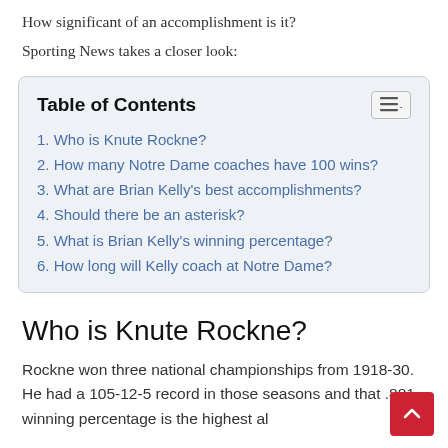How significant of an accomplishment is it?
Sporting News takes a closer look:
| Table of Contents |
| --- |
| 1. Who is Knute Rockne? |
| 2. How many Notre Dame coaches have 100 wins? |
| 3. What are Brian Kelly's best accomplishments? |
| 4. Should there be an asterisk? |
| 5. What is Brian Kelly's winning percentage? |
| 6. How long will Kelly coach at Notre Dame? |
Who is Knute Rockne?
Rockne won three national championships from 1918-30. He had a 105-12-5 record in those seasons and that .881 winning percentage is the highest al